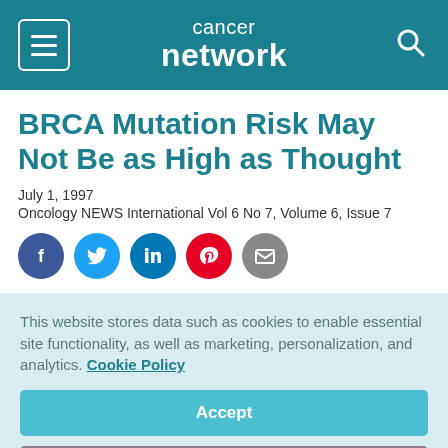cancer network
BRCA Mutation Risk May Not Be as High as Thought
July 1, 1997
Oncology NEWS International Vol 6 No 7, Volume 6, Issue 7
[Figure (infographic): Row of five social sharing icons: Facebook (blue circle), Twitter (light blue circle), LinkedIn (teal circle), Pinterest (red circle), Email (grey circle)]
This website stores data such as cookies to enable essential site functionality, as well as marketing, personalization, and analytics. Cookie Policy
Accept
Deny